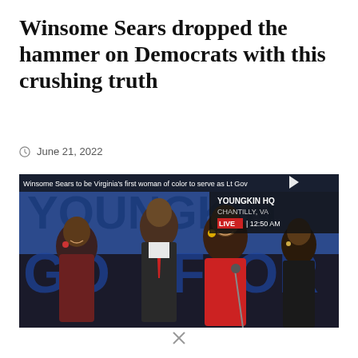Winsome Sears dropped the hammer on Democrats with this crushing truth
June 21, 2022
[Figure (photo): Winsome Sears on stage at a Youngkin election night event in Chantilly, VA. Four people stand in front of a blue backdrop reading 'YOUNGKIN GOVERNOR'. A news chyron reads 'Winsome Sears to be Virginia's first woman of color to serve as Lt Gov' with a LIVE bug showing 12:50 AM. YOUNGKIN HQ CHANTILLY, VA is shown in the upper right.]